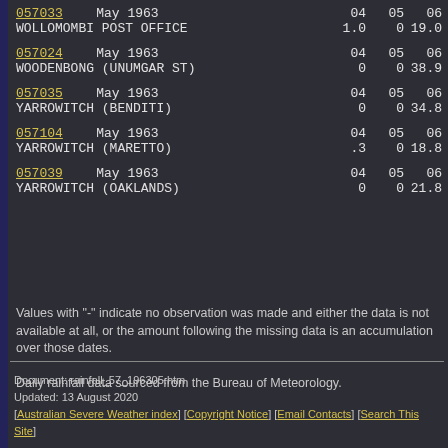| Station | Month | 04 | 05 | 06... |
| --- | --- | --- | --- | --- |
| 057033 | May 1963 | 04 | 05 | 06 |
| WOLLOMOMBI POST OFFICE |  | 1.0 | 0 | 19.0 |
| 057024 | May 1963 | 04 | 05 | 06 |
| WOODENBONG (UNUMGAR ST) |  | 0 | 0 | 38.9 |
| 057035 | May 1963 | 04 | 05 | 06 |
| YARROWITCH (BENDITI) |  | 0 | 0 | 34.8 |
| 057104 | May 1963 | 04 | 05 | 06 |
| YARROWITCH (MARETTO) |  | .3 | 0 | 18.8 |
| 057039 | May 1963 | 04 | 05 | 06 |
| YARROWITCH (OAKLANDS) |  | 0 | 0 | 21.8 |
Values with "-" indicate no observation was made and either the data is not available at all, or the amount following the missing data is an accumulation over those dates.
Daily rainfall data sourced from the Bureau of Meteorology.
Document: rainfall_57_196305.htm
Updated: 13 August 2020
[Australian Severe Weather index] [Copyright Notice] [Email Contacts] [Search This Site]